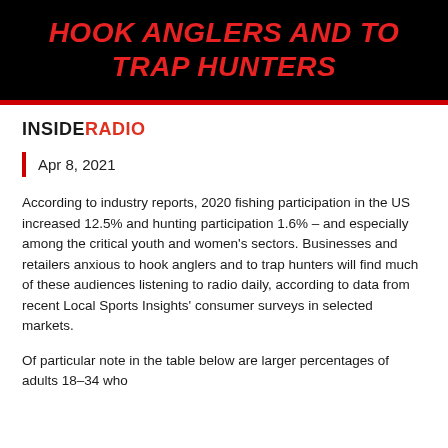hook Anglers and to Trap Hunters
INSIDERADIO
Apr 8, 2021
According to industry reports, 2020 fishing participation in the US increased 12.5% and hunting participation 1.6% – and especially among the critical youth and women's sectors. Businesses and retailers anxious to hook anglers and to trap hunters will find much of these audiences listening to radio daily, according to data from recent Local Sports Insights' consumer surveys in selected markets.
Of particular note in the table below are larger percentages of adults 18–34 who